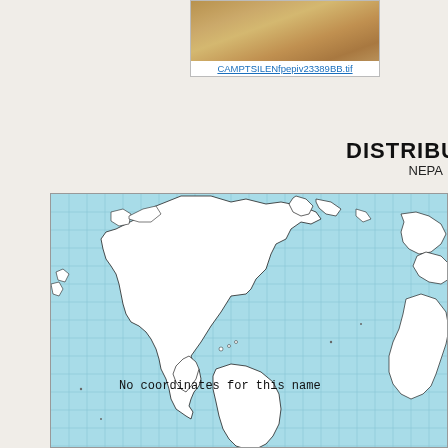[Figure (photo): Specimen thumbnail image showing a brownish/tan colored sample, labeled CAMPTSILENfpepiv23389BB.tif]
CAMPTSILENfpepiv23389BB.tif
DISTRIBU
NEPA
[Figure (map): World map with light blue ocean background and white landmasses, showing a grid overlay. Text reads: No coordinates for this name]
No coordinates for this name